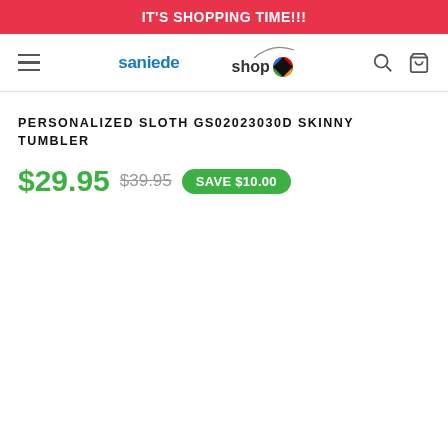IT'S SHOPPING TIME!!!
[Figure (logo): Saniede Shop logo with swoosh and colorful circle icon]
PERSONALIZED SLOTH GS02023030D SKINNY TUMBLER
$29.95  $39.95  SAVE $10.00